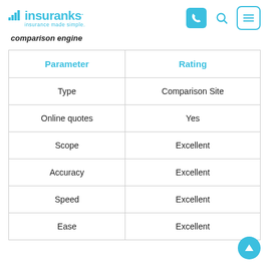insuranks - insurance made simple
comparison engine
| Parameter | Rating |
| --- | --- |
| Type | Comparison Site |
| Online quotes | Yes |
| Scope | Excellent |
| Accuracy | Excellent |
| Speed | Excellent |
| Ease | Excellent |